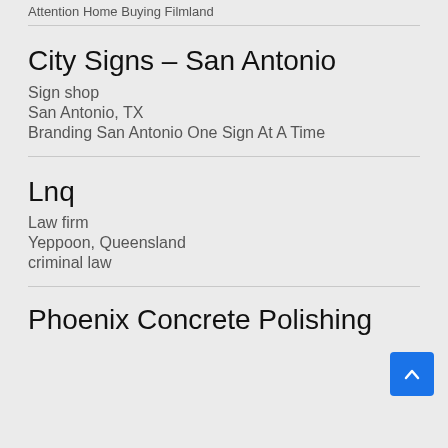Attention Home Buying Filmland
City Signs – San Antonio
Sign shop
San Antonio, TX
Branding San Antonio One Sign At A Time
Lnq
Law firm
Yeppoon, Queensland
criminal law
Phoenix Concrete Polishing